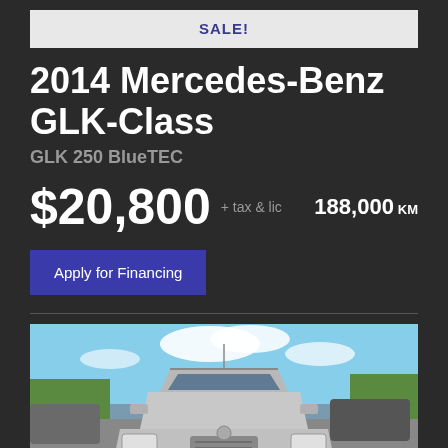SALE!
2014 Mercedes-Benz GLK-Class
GLK 250 BlueTEC
$20,800 + tax & lic   188,000 KM
Apply for Financing
[Figure (photo): Front view of a silver 2014 Mercedes-Benz GLK-Class SUV parked in a dealership lot with other vehicles and trees visible in the background under a partly cloudy sky.]